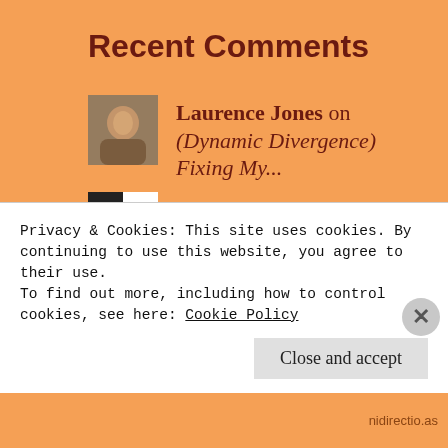Recent Comments
Laurence Jones on (Dynamic Divergence) Fixing My...
George Hill on (Dynamic Divergence) Fixing My...
Laurence Jones on (Dynamic Divergence) Whatever...
Edna on (Dynamic Divergence) Whatever...
Nate on (Dynamic Divergence)
Privacy & Cookies: This site uses cookies. By continuing to use this website, you agree to their use.
To find out more, including how to control cookies, see here: Cookie Policy
Close and accept